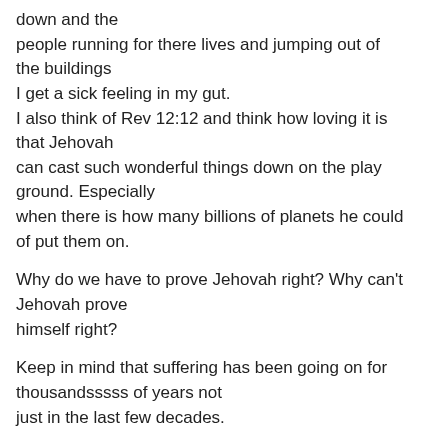down and the people running for there lives and jumping out of the buildings I get a sick feeling in my gut. I also think of Rev 12:12 and think how loving it is that Jehovah can cast such wonderful things down on the play ground. Especially when there is how many billions of planets he could of put them on.
Why do we have to prove Jehovah right? Why can't Jehovah prove himself right?
Keep in mind that suffering has been going on for thousandsssss of years not just in the last few decades.
Is Jehovah just imaginary comfort for our fears?